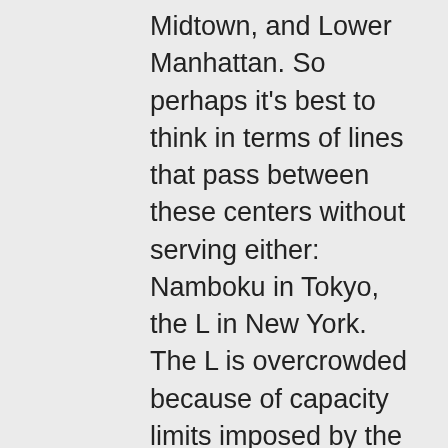Midtown, and Lower Manhattan. So perhaps it's best to think in terms of lines that pass between these centers without serving either: Namboku in Tokyo, the L in New York. The L is overcrowded because of capacity limits imposed by the western terminal and because of peaky demand, but overall ridership isn't high – it ranks 7th among the 9 colors in the city, ahead of only the G and the J/M/Z. And the L isn't far